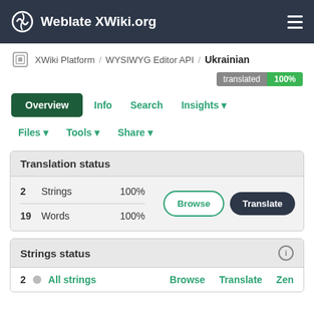Weblate XWiki.org
XWiki Platform / WYSIWYG Editor API / Ukrainian
translated 100%
Overview  Info  Search  Insights  Files  Tools  Share
Translation status
| Count | Type | Percentage |
| --- | --- | --- |
| 2 | Strings | 100% |
| 19 | Words | 100% |
Strings status
| Count |  | Label | Browse | Translate | Zen |
| --- | --- | --- | --- | --- | --- |
| 2 |  | All strings | Browse | Translate | Zen |